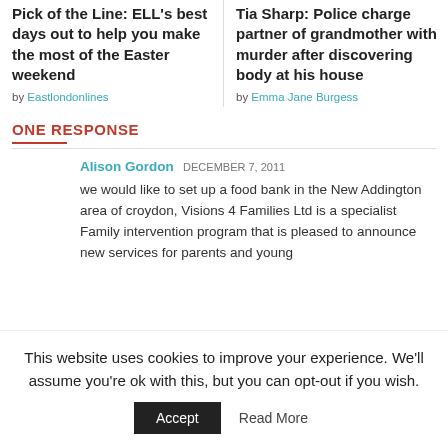Pick of the Line: ELL's best days out to help you make the most of the Easter weekend
by Eastlondonlines
Tia Sharp: Police charge partner of grandmother with murder after discovering body at his house
by Emma Jane Burgess
ONE RESPONSE
Alison Gordon DECEMBER 7, 2011
we would like to set up a food bank in the New Addington area of croydon, Visions 4 Families Ltd is a specialist Family intervention program that is pleased to announce new services for parents and young
This website uses cookies to improve your experience. We'll assume you're ok with this, but you can opt-out if you wish.
Accept   Read More